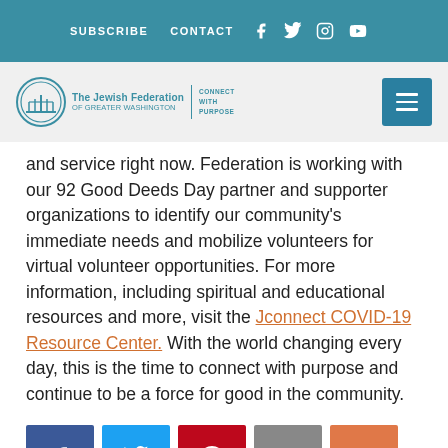SUBSCRIBE   CONTACT   [social icons: Facebook, Twitter, Instagram, YouTube]
[Figure (logo): The Jewish Federation of Greater Washington logo with menorah icon and 'Connect with Purpose' tagline, plus hamburger menu button]
and service right now. Federation is working with our 92 Good Deeds Day partner and supporter organizations to identify our community's immediate needs and mobilize volunteers for virtual volunteer opportunities. For more information, including spiritual and educational resources and more, visit the Jconnect COVID-19 Resource Center. With the world changing every day, this is the time to connect with purpose and continue to be a force for good in the community.
[Figure (infographic): Social share buttons row: Facebook (blue), Twitter (light blue), Pinterest (red), Email (gray), More/Plus (orange-red)]